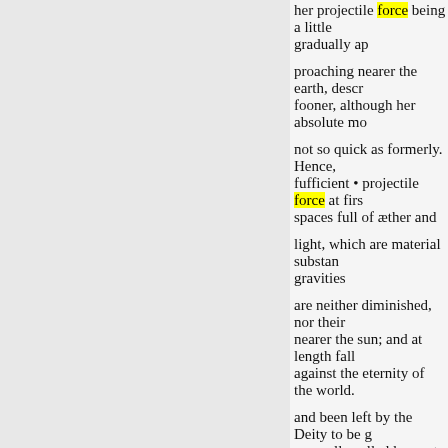her projectile force being a little gradually ap
proaching nearer the earth, descr fooner, although her absolute mo
not so quick as formerly. Hence, fufficient • projectile force at firs spaces full of æther and
light, which are material substan gravities
are neither diminished, nor their nearer the sun; and at length fall against the eternity of the world.
and been left by the Deity to be g generally called laws, < it had be But we may be certain, that it ' w
more to be found fault with for f
In the fifth chapter our Author refractions in was ter and air: the
« Anterior